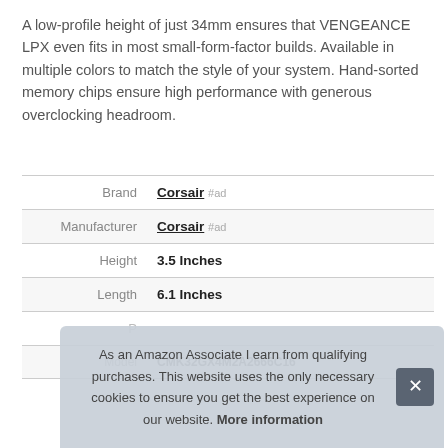A low-profile height of just 34mm ensures that VENGEANCE LPX even fits in most small-form-factor builds. Available in multiple colors to match the style of your system. Hand-sorted memory chips ensure high performance with generous overclocking headroom.
|  |  |
| --- | --- |
| Brand | Corsair #ad |
| Manufacturer | Corsair #ad |
| Height | 3.5 Inches |
| Length | 6.1 Inches |
| P… |  |
| Model | CMK32GX4M2A2666C16 |
As an Amazon Associate I earn from qualifying purchases. This website uses the only necessary cookies to ensure you get the best experience on our website. More information